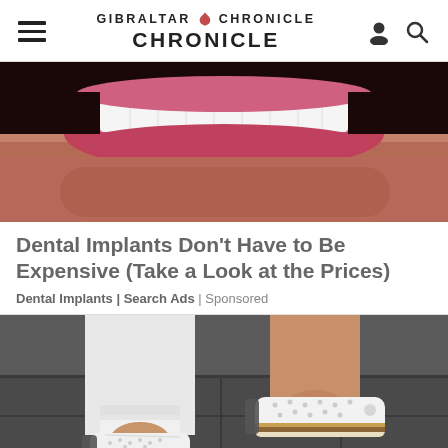GIBRALTAR CHRONICLE
[Figure (photo): Close-up photo of a person's mouth/teeth showing white teeth and stubble on chin, used as advertisement image for dental implants]
Dental Implants Don't Have to Be Expensive (Take a Look at the Prices)
Dental Implants | Search Ads | Sponsored
[Figure (photo): Close-up photo of a person wearing white jeans and white perforated sneakers/shoes with gold accents, shot from below on a sidewalk]